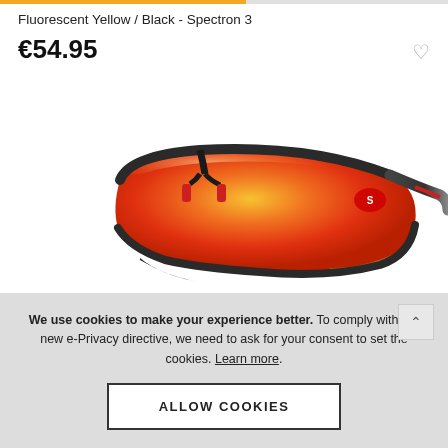Fluorescent Yellow / Black - Spectron 3
€54.95
[Figure (photo): Sports sunglasses with dark frame and orange/yellow mirrored lens, red accents, viewed from the side]
We use cookies to make your experience better. To comply with the new e-Privacy directive, we need to ask for your consent to set the cookies. Learn more.
ALLOW COOKIES